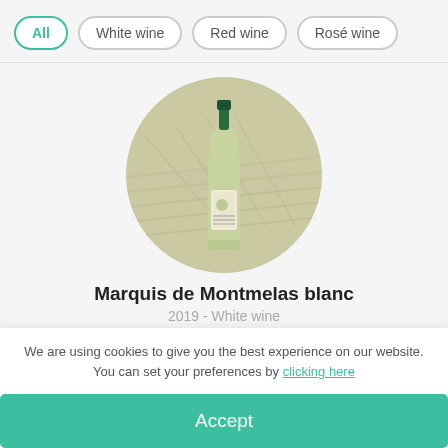All | White wine | Red wine | Rosé wine
[Figure (photo): A wine bottle (Marquis de Montmelas blanc) displayed in a circular frame with a vineyard background]
Marquis de Montmelas blanc
2019 - White wine
We are using cookies to give you the best experience on our website. You can set your preferences by clicking here
Accept